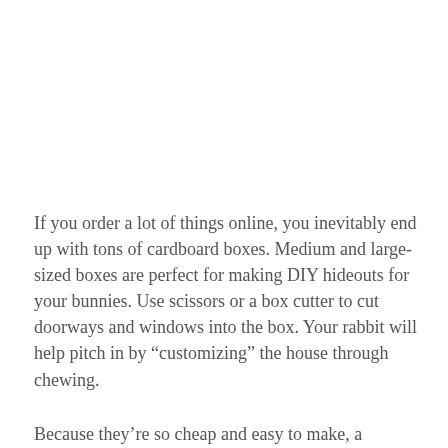If you order a lot of things online, you inevitably end up with tons of cardboard boxes. Medium and large-sized boxes are perfect for making DIY hideouts for your bunnies. Use scissors or a box cutter to cut doorways and windows into the box. Your rabbit will help pitch in by “customizing” the house through chewing.
Because they’re so cheap and easy to make, a cardboard box house is perfect to provide plenty of hideouts during playtime. You can even combine multiple boxes together to create tunnels or